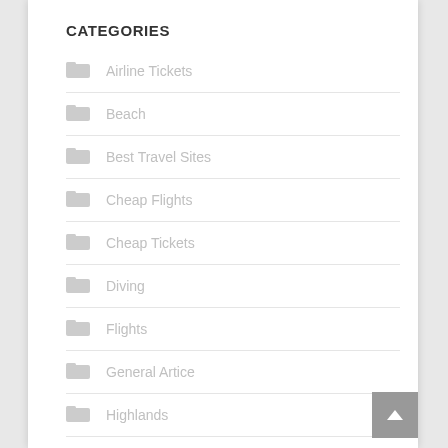CATEGORIES
Airline Tickets
Beach
Best Travel Sites
Cheap Flights
Cheap Tickets
Diving
Flights
General Artice
Highlands
Holidays
Hotels